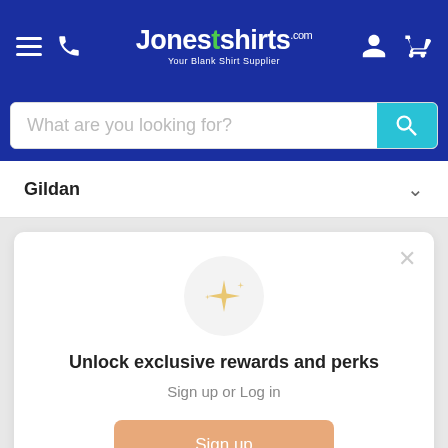JonesTshirts.com - Your Blank Shirt Supplier - navigation header
What are you looking for?
Gildan
Unlock exclusive rewards and perks
Sign up or Log in
Sign up
Already have an account? Sign in
UltraClub